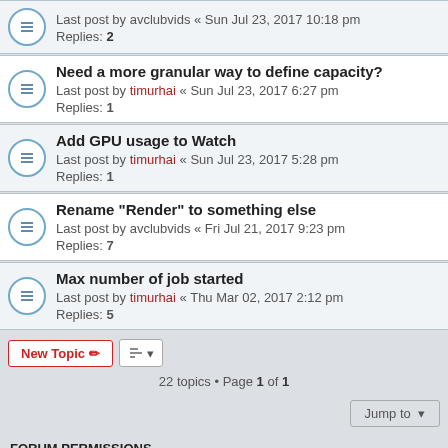Last post by avclubvids « Sun Jul 23, 2017 10:18 pm
Replies: 2
Need a more granular way to define capacity?
Last post by timurhai « Sun Jul 23, 2017 6:27 pm
Replies: 1
Add GPU usage to Watch
Last post by timurhai « Sun Jul 23, 2017 5:28 pm
Replies: 1
Rename "Render" to something else
Last post by avclubvids « Fri Jul 21, 2017 9:23 pm
Replies: 7
Max number of job started
Last post by timurhai « Thu Mar 02, 2017 2:12 pm
Replies: 5
22 topics • Page 1 of 1
Jump to
FORUM PERMISSIONS
You cannot post new topics in this forum
You cannot reply to topics in this forum
You cannot edit your posts in this forum